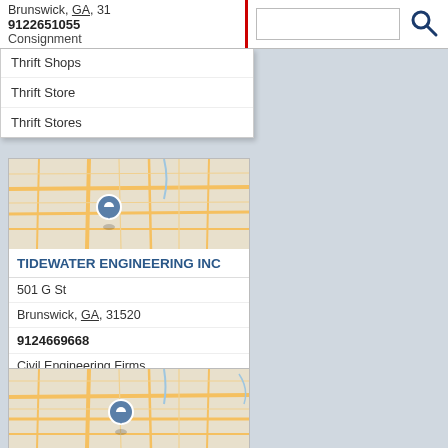Brunswick, GA, 31
9122651055
Consignment
Thrift Shops
Thrift Store
Thrift Stores
[Figure (map): Street map of Brunswick GA area with location pin marker]
TIDEWATER ENGINEERING INC
501 G St
Brunswick, GA, 31520
9124669668
Civil Engineering Firms
Civil Engineers
Engineering Companies
[Figure (map): Street map of Brunswick GA area with location pin marker]